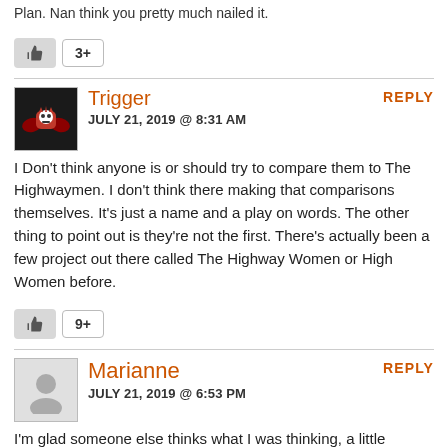Plan. Nan think you pretty much nailed it.
[Figure (other): Like button with count 3+]
Trigger
JULY 21, 2019 @ 8:31 AM
I Don't think anyone is or should try to compare them to The Highwaymen. I don't think there making that comparisons themselves. It's just a name and a play on words. The other thing to point out is they're not the first. There's actually been a few project out there called The Highway Women or High Women before.
[Figure (other): Like button with count 9+]
Marianne
JULY 21, 2019 @ 6:53 PM
I'm glad someone else thinks what I was thinking, a little presumptuous on the name. But that doesn't bother me so much as the song is mediocre, too wordy but most importantly their voices just don't blend well. Trio was amazing, this sounds like 4 people who find it more important to be friends